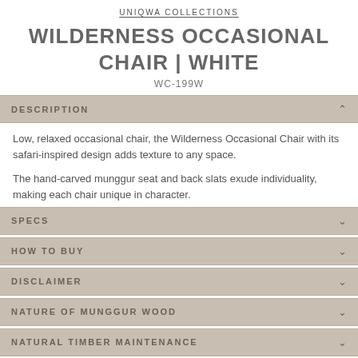UNIQWA COLLECTIONS
WILDERNESS OCCASIONAL CHAIR | WHITE
WC-199W
DESCRIPTION
Low, relaxed occasional chair, the Wilderness Occasional Chair with its safari-inspired design adds texture to any space.
The hand-carved munggur seat and back slats exude individuality, making each chair unique in character.
SPECS
HOW TO BUY
DISCLAIMER
NATURE OF MUNGGUR WOOD
NATURAL TIMBER MAINTENANCE